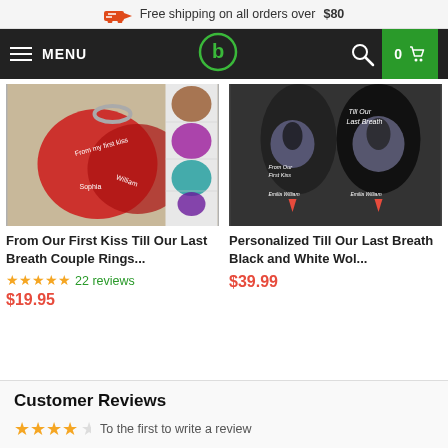Free shipping on all orders over $80
MENU | 0 cart
[Figure (photo): Product photo of red heart-shaped couple rings keychain with colored variants]
From Our First Kiss Till Our Last Breath Couple Rings...
★★★★★ 22 reviews $19.95
[Figure (photo): Photo of black hoodies with wolf print saying From Our First Kiss Till Our Last Breath]
Personalized Till Our Last Breath Black and White Wol...
$39.99
Customer Reviews
To the first to write a review